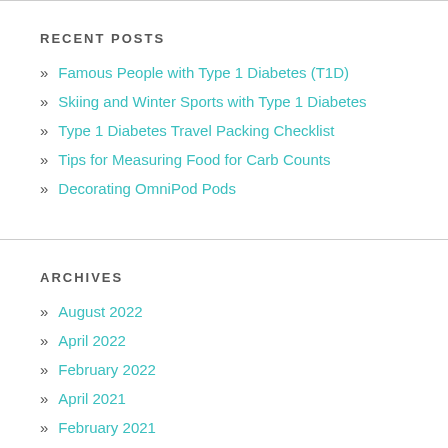RECENT POSTS
Famous People with Type 1 Diabetes (T1D)
Skiing and Winter Sports with Type 1 Diabetes
Type 1 Diabetes Travel Packing Checklist
Tips for Measuring Food for Carb Counts
Decorating OmniPod Pods
ARCHIVES
August 2022
April 2022
February 2022
April 2021
February 2021